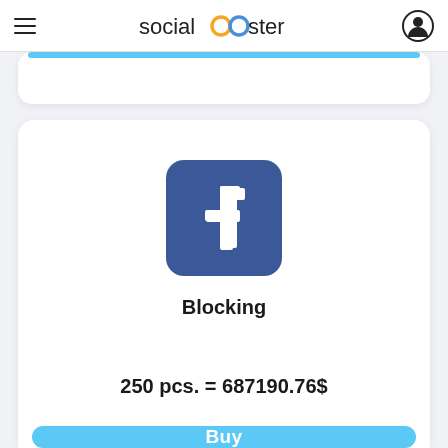socialbooster
[Figure (screenshot): Partial card with blue bar visible at top, cut off]
[Figure (logo): Facebook logo - blue rounded square with white lowercase f]
Blocking
250 pcs. = 687190.76$
Buy